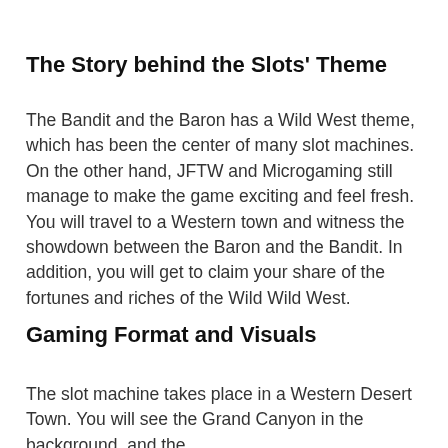The Story behind the Slots' Theme
The Bandit and the Baron has a Wild West theme, which has been the center of many slot machines. On the other hand, JFTW and Microgaming still manage to make the game exciting and feel fresh. You will travel to a Western town and witness the showdown between the Baron and the Bandit. In addition, you will get to claim your share of the fortunes and riches of the Wild Wild West.
Gaming Format and Visuals
The slot machine takes place in a Western Desert Town. You will see the Grand Canyon in the background, and the